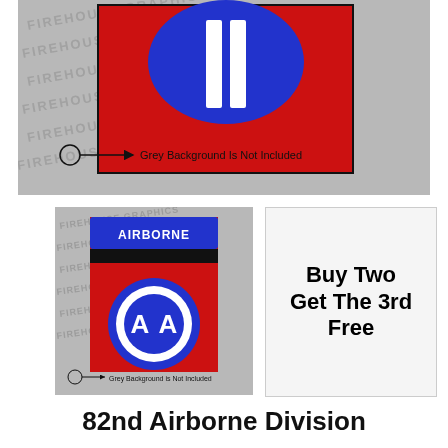[Figure (illustration): 82nd Airborne Division patch/flag graphic on grey watermarked background. Red background with blue circle and two white vertical stripes. Arrow pointing to circle reading 'Grey Background is Not Included'.]
[Figure (illustration): 82nd Airborne Division shoulder patch on grey watermarked background. Blue AIRBORNE tab on top, black band, red background with blue circle containing white AA letters. Arrow annotation: 'Grey Background is Not Included'.]
[Figure (infographic): Promotional box: 'Buy Two Get The 3rd Free']
82nd Airborne Division